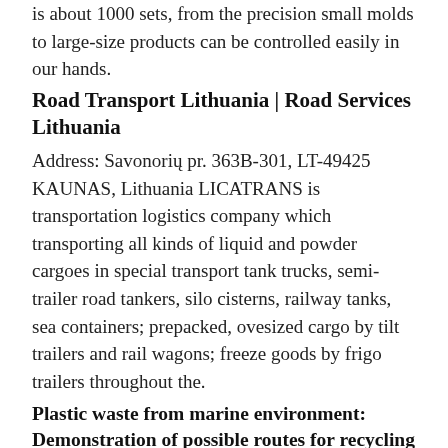is about 1000 sets, from the precision small molds to large-size products can be controlled easily in our hands.
Road Transport Lithuania | Road Services Lithuania
Address: Savonorių pr. 363B-301, LT-49425 KAUNAS, Lithuania LICATRANS is transportation logistics company which transporting all kinds of liquid and powder cargoes in special transport tank trucks, semi-trailer road tankers, silo cisterns, railway tanks, sea containers; prepacked, ovesized cargo by tilt trailers and rail wagons; freeze goods by frigo trailers throughout the.
Plastic waste from marine environment: Demonstration of possible routes for recycling by different manufacturing technologies - ScienceDirect
Much of the plastic is used for packaging, which becomes waste very quickly. Between 1950 and 2015, about 6300 million metric tons of primary and secondary (recycled) waste was produced, of which only 9% was recycled.